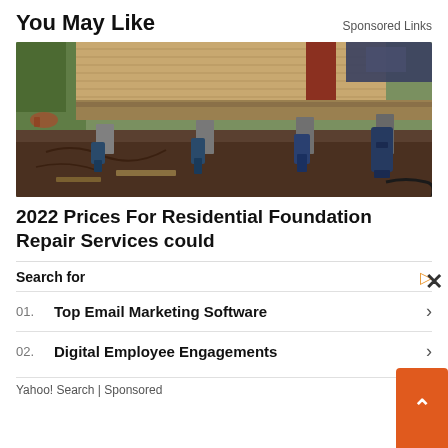You May Like
Sponsored Links
[Figure (photo): Construction photo showing foundation repair work on a residential building. Blue hydraulic jacks are lifting the structure, with wooden beams and bare earth visible underneath the house.]
2022 Prices For Residential Foundation Repair Services could
Search for
01. Top Email Marketing Software
02. Digital Employee Engagements
Yahoo! Search | Sponsored